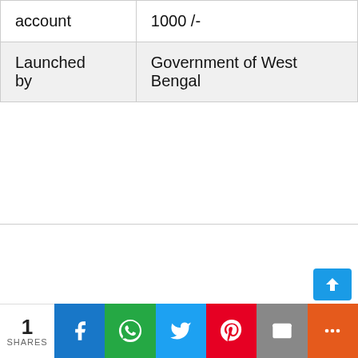| account | 1000 /- |
| Launched by | Government of West Bengal |
1 SHARES | Facebook | WhatsApp | Twitter | Pinterest | Email | More